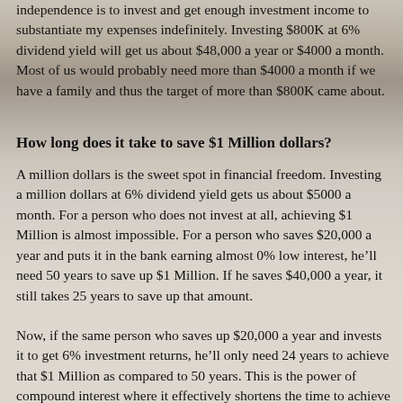independence is to invest and get enough investment income to substantiate my expenses indefinitely. Investing $800K at 6% dividend yield will get us about $48,000 a year or $4000 a month. Most of us would probably need more than $4000 a month if we have a family and thus the target of more than $800K came about.
How long does it take to save $1 Million dollars?
A million dollars is the sweet spot in financial freedom. Investing a million dollars at 6% dividend yield gets us about $5000 a month. For a person who does not invest at all, achieving $1 Million is almost impossible. For a person who saves $20,000 a year and puts it in the bank earning almost 0% low interest, he’ll need 50 years to save up $1 Million. If he saves $40,000 a year, it still takes 25 years to save up that amount.
Now, if the same person who saves up $20,000 a year and invests it to get 6% investment returns, he’ll only need 24 years to achieve that $1 Million as compared to 50 years. This is the power of compound interest where it effectively shortens the time to achieve the same financial target by about half. Not many people will understand compound interest as it is always almost confusing for